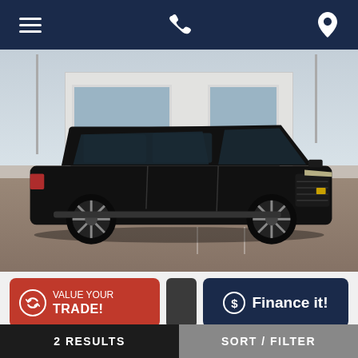Navigation bar with menu, phone, and location icons
[Figure (photo): Black Chevrolet large SUV (Tahoe/Suburban) parked in front of a dealership building on a sunny day. The vehicle is black with black multi-spoke wheels. Dealership building visible in background.]
VALUE YOUR TRADE!
Finance it!
CHEVROLET
$96,522
2 RESULTS   SORT / FILTER